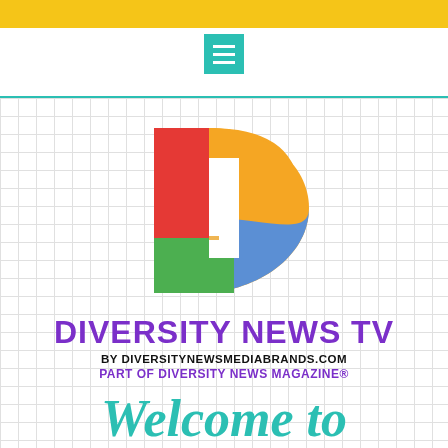[Figure (logo): Diversity News TV logo: colorful D shape made of red, orange/yellow, green, and blue segments, with purple text 'DIVERSITY NEWS TV', black text 'BY DIVERSITYNEWSMEDIABRANDS.COM', and purple text 'PART OF DIVERSITY NEWS MAGAZINE®']
Welcome to